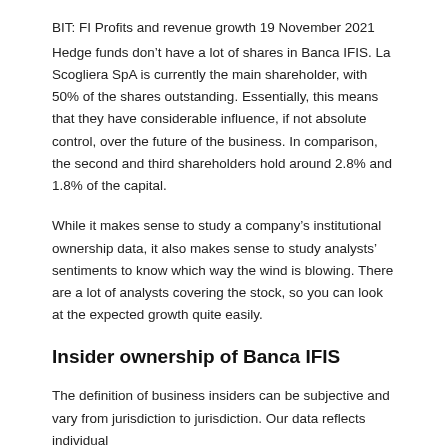BIT: FI Profits and revenue growth 19 November 2021
Hedge funds don’t have a lot of shares in Banca IFIS. La Scogliera SpA is currently the main shareholder, with 50% of the shares outstanding. Essentially, this means that they have considerable influence, if not absolute control, over the future of the business. In comparison, the second and third shareholders hold around 2.8% and 1.8% of the capital.
While it makes sense to study a company’s institutional ownership data, it also makes sense to study analysts’ sentiments to know which way the wind is blowing. There are a lot of analysts covering the stock, so you can look at the expected growth quite easily.
Insider ownership of Banca IFIS
The definition of business insiders can be subjective and vary from jurisdiction to jurisdiction. Our data reflects individual